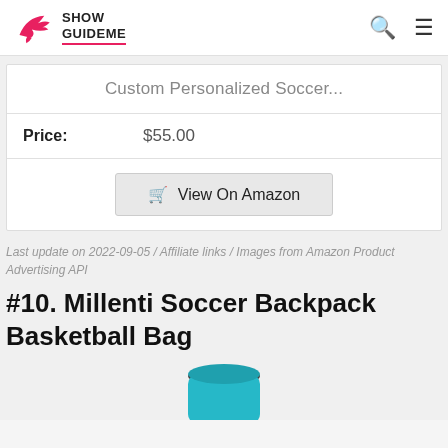Show GuideMe
Custom Personalized Soccer...
| Price: | $55.00 |
| --- | --- |
View On Amazon
Last update on 2022-09-05 / Affiliate links / Images from Amazon Product Advertising API
#10. Millenti Soccer Backpack Basketball Bag
[Figure (photo): Partial view of a teal/turquoise soccer backpack basketball bag from the top]